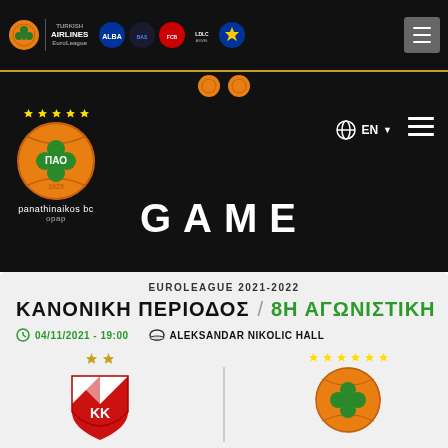Panathinaikos BC OPAP | Turkish Airlines EuroLeague | Team logos navigation bar
[Figure (logo): Panathinaikos BC OPAP logo - orange basketball with green clover and stars]
GAME
EUROLEAGUE 2021-2022
ΚΑΝΟΝΙΚΗ ΠΕΡΙΟΔΟΣ / 8Η ΑΓΩΝΙΣΤΙΚΗ
04/11/2021 - 19:00   ALEKSANDAR NIKOLIC HALL
[Figure (logo): Crvena zvezda (Red Star) basketball club logo - red and white star shield with KK letters]
[Figure (logo): Panathinaikos BC OPAP logo - orange basketball with green clover and stars]